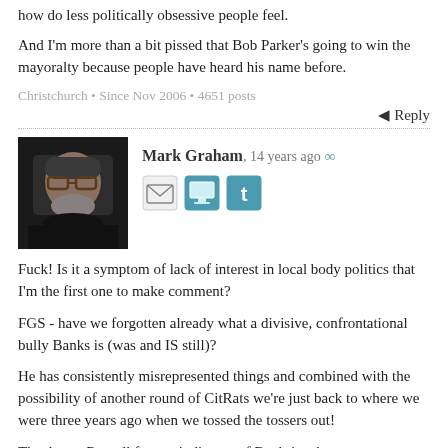how do less politically obsessive people feel.
And I'm more than a bit pissed that Bob Parker's going to win the mayoralty because people have heard his name before.
Christchurch • Since Nov 2006 • 4651 posts
Reply
Mark Graham, 14 years ago ∞
[Figure (photo): Profile photo of Mark Graham, a man with glasses and a beard]
Fuck! Is it a symptom of lack of interest in local body politics that I'm the first one to make comment?
FGS - have we forgotten already what a divisive, confrontational bully Banks is (was and IS still)?
He has consistently misrepresented things and combined with the possibility of another round of CitRats we're just back to where we were three years ago when we tossed the tossers out!
Thank you Russell for reminding us of Banks' and CitRats...